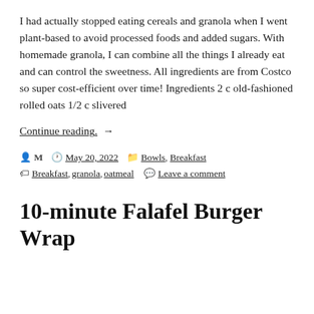I had actually stopped eating cereals and granola when I went plant-based to avoid processed foods and added sugars. With homemade granola, I can combine all the things I already eat and can control the sweetness. All ingredients are from Costco so super cost-efficient over time! Ingredients 2 c old-fashioned rolled oats 1/2 c slivered
Continue reading →
Posted by M  |  May 20, 2022  |  Bowls, Breakfast  |  Tags: Breakfast, granola, oatmeal  |  Leave a comment
10-minute Falafel Burger Wrap